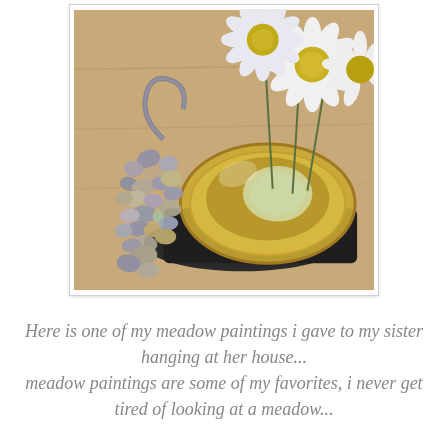[Figure (photo): A still-life photograph showing white daisy flowers arranged in a gold/silver ornate tray or dish, alongside a decorative stone or pebble bracelet/necklace with a silver clasp, all placed on a wooden surface.]
Here is one of my meadow paintings i gave to my sister hanging at her house... meadow paintings are some of my favorites, i never get tired of looking at a meadow...